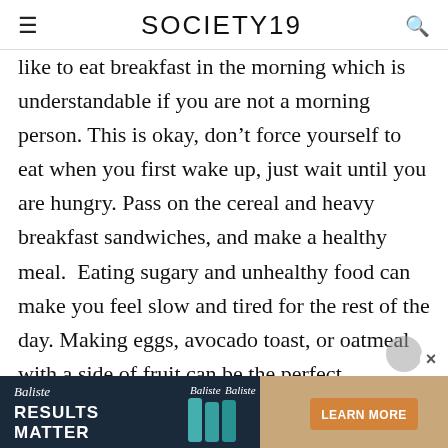SOCIETY19
like to eat breakfast in the morning which is understandable if you are not a morning person. This is okay, don’t force yourself to eat when you first wake up, just wait until you are hungry. Pass on the cereal and heavy breakfast sandwiches, and make a healthy meal.  Eating sugary and unhealthy food can make you feel slow and tired for the rest of the day. Making eggs, avocado toast, or oatmeal with a side of fruit can be the perfect breakfast. Starting your day with healthy food that will give you energy for the day is a great way to feel productive for the rest of the day.
[Figure (screenshot): Baliste advertisement banner: dark navy background on left with 'Baliste RESULTS MATTER' text, product bottles in center, tan/brown background on right with 'LEARN MORE' orange button]